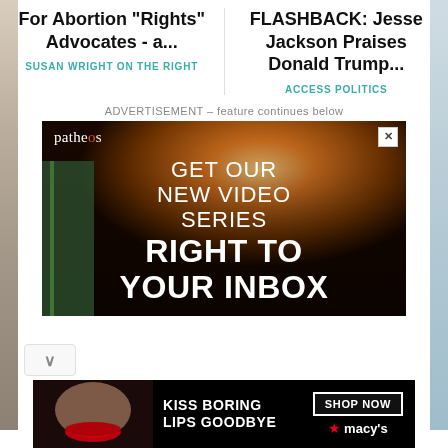For Abortion "Rights" Advocates - a...
SUSAN WRIGHT ON THE RIGHT
FLASHBACK: Jesse Jackson Praises Donald Trump...
ACCESS POLITICS
ADVERTISEMENT – feature continues below
[Figure (advertisement): Patheos advertisement banner: orange/sunset background with text 'GET OUR NEW VIDEO SERIES RIGHT TO YOUR INBOX']
[Figure (advertisement): Macy's advertisement: black background with 'KISS BORING LIPS GOODBYE' text and 'SHOP NOW' button with Macy's star logo]